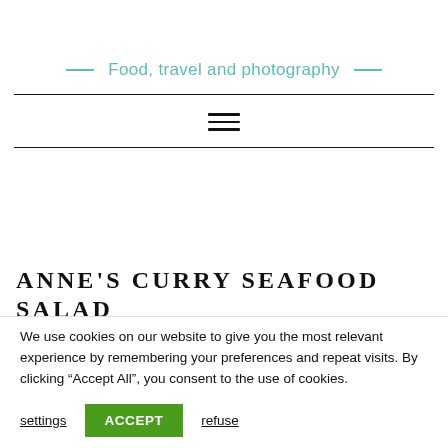Food, travel and photography
ANNE'S CURRY SEAFOOD SALAD
We use cookies on our website to give you the most relevant experience by remembering your preferences and repeat visits. By clicking “Accept All”, you consent to the use of cookies.
settings
ACCEPT
refuse